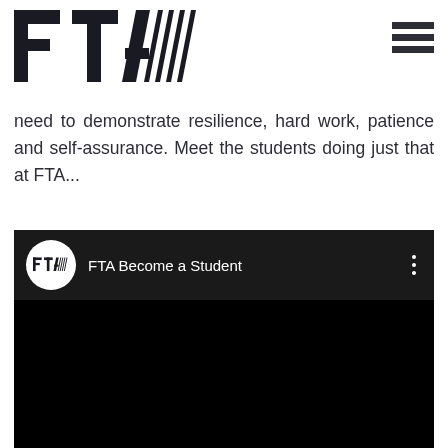[Figure (logo): FTA logo with bold letters FTA and diagonal stripes forming a chevron/arrow shape]
need to demonstrate resilience, hard work, patience and self-assurance. Meet the students doing just that at FTA...
[Figure (screenshot): YouTube-style video embed showing 'FTA Become a Student' channel with FTA logo avatar, black video area, and three-dot menu icon]